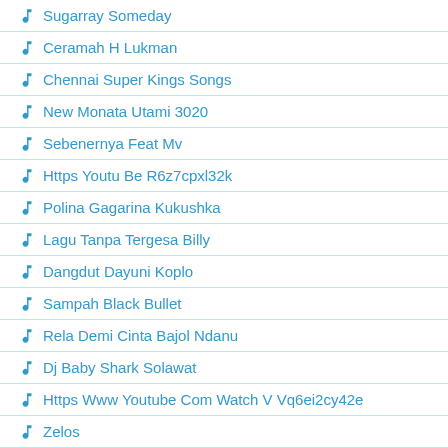Sugarray Someday
Ceramah H Lukman
Chennai Super Kings Songs
New Monata Utami 3020
Sebenernya Feat Mv
Https Youtu Be R6z7cpxl32k
Polina Gagarina Kukushka
Lagu Tanpa Tergesa Billy
Dangdut Dayuni Koplo
Sampah Black Bullet
Rela Demi Cinta Bajol Ndanu
Dj Baby Shark Solawat
Https Www Youtube Com Watch V Vq6ei2cy42e
Zelos